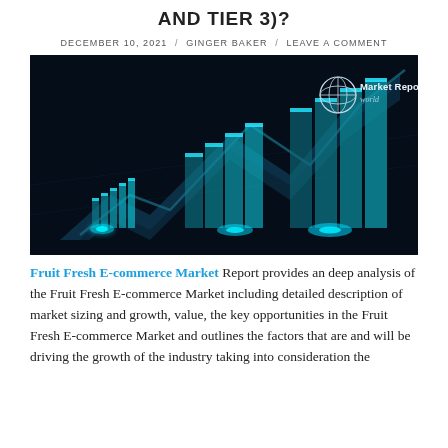AND TIER 3)?
DECEMBER 10, 2021 / GINGER BAKER / LEAVE A COMMENT
[Figure (illustration): Dark financial/market chart illustration with glowing cyan 3D bar chart elements and rising arrow on dark background, with Market Reports World logo in top right corner.]
Fruit Fresh E-commerce Market Report provides an deep analysis of the Fruit Fresh E-commerce Market including detailed description of market sizing and growth, value, the key opportunities in the Fruit Fresh E-commerce Market and outlines the factors that are and will be driving the growth of the industry taking into consideration the